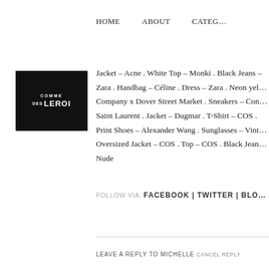HOME   ABOUT   CATEG…
[Figure (logo): COMME DES LEROI logo — white text on black square background]
Jacket – Acne . White Top – Monki . Black Jeans – Zara . Handbag – Céline . Dress – Zara . Neon yel… Company x Dover Street Market . Sneakers – Con… Saint Laurent . Jacket – Dagmar . T-Shirt – COS . Print Shoes – Alexander Wang . Sunglasses – Vint… Oversized Jacket – COS . Top – COS . Black Jean… Nude
FOLLOW VIA: FACEBOOK | TWITTER | BLO…
LEAVE A REPLY TO MICHELLE CANCEL REPLY